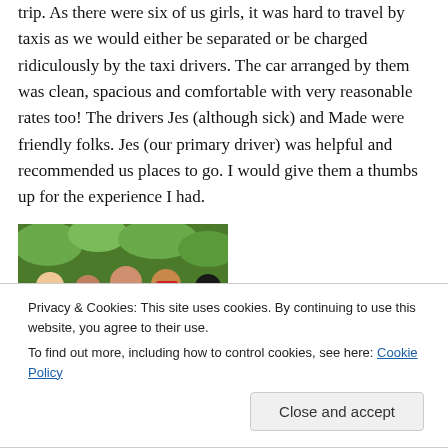trip. As there were six of us girls, it was hard to travel by taxis as we would either be separated or be charged ridiculously by the taxi drivers. The car arranged by them was clean, spacious and comfortable with very reasonable rates too! The drivers Jes (although sick) and Made were friendly folks. Jes (our primary driver) was helpful and recommended us places to go. I would give them a thumbs up for the experience I had.
[Figure (photo): Group photo of several people outdoors with greenery in background]
Privacy & Cookies: This site uses cookies. By continuing to use this website, you agree to their use.
To find out more, including how to control cookies, see here: Cookie Policy